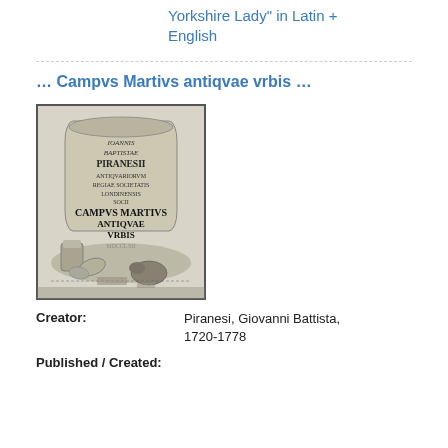Yorkshire Lady" in Latin + English
… Campvs Martivs antiqvae vrbis …
[Figure (photo): Title page of Campvs Martivs antiqvae vrbis by Giovanni Battista Piranesi, showing an engraved stone tablet surrounded by ruins and architectural elements]
Creator: Piranesi, Giovanni Battista, 1720-1778
Published / Created: 1762